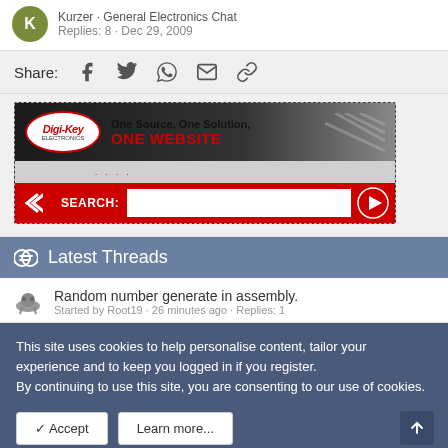Kurzer · General Electronics Chat
Replies: 8 · Dec 29, 2009
Share:
[Figure (screenshot): Digi-Key Electronics advertisement banner: 'One Source, One Solution, ONE WEBSITE' with SEARCH bar and play button]
Latest Threads
Random number generate in assembly.
Started by Root19 · 26 minutes ago · Replies: 1
This site uses cookies to help personalise content, tailor your experience and to keep you logged in if you register.
By continuing to use this site, you are consenting to our use of cookies.